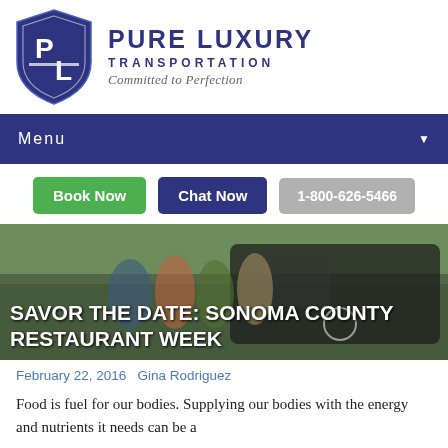[Figure (logo): Pure Luxury Transportation shield logo with PL monogram in dark navy blue]
PURE LUXURY TRANSPORTATION
Committed to Perfection
Menu
Book Now   Chat Now   1-800-626-5466
[Figure (photo): Group of women standing in front of a black Mercedes-Benz luxury van, outdoors with trees in background. Text overlay: SAVOR THE DATE: SONOMA COUNTY RESTAURANT WEEK]
February 22, 2016   Gina Rodriguez
Food is fuel for our bodies. Supplying our bodies with the energy and nutrients it needs can be a